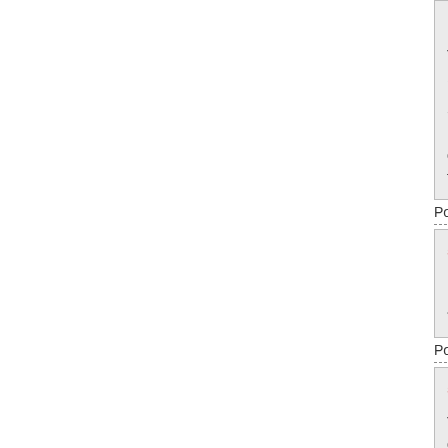Posted by: donna at October 28, 2015 11:38
The student is facing some kind of disruptive... backing her.
She is sixteen years old, yet the ACLU is ca... to make it appear that she was a tiny baby b...
Posted by: Jen the original at October 28, 2015 11:4
521 Deadwood didn't.
Posted by: rickb223
*sad sigh*
Posted by: Bob Dole at October 28, 2015 11:45 AM
522 knocked you down, dragged you, and th...
They probably don't practice pulling people... different than just taking someone down for...
Posted by: DaveA at October 28, 2015 11:45 AM (D